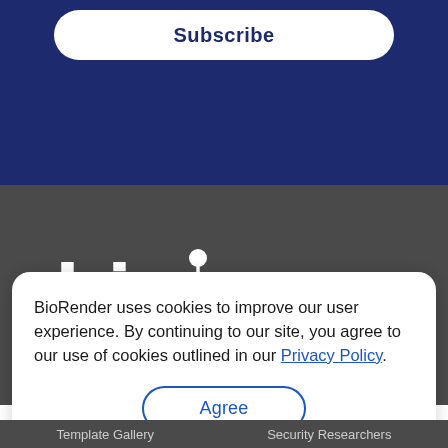[Figure (screenshot): Subscribe button on dark navy blue background]
[Figure (logo): BioRender logo in white text on dark gray background]
BioRender uses cookies to improve our user experience. By continuing to our site, you agree to our use of cookies outlined in our Privacy Policy.
Agree
Template Gallery   Security Researchers